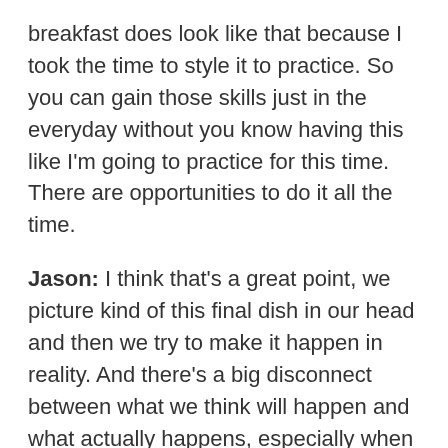breakfast does look like that because I took the time to style it to practice. So you can gain those skills just in the everyday without you know having this like I'm going to practice for this time. There are opportunities to do it all the time.
Jason: I think that's a great point, we picture kind of this final dish in our head and then we try to make it happen in reality. And there's a big disconnect between what we think will happen and what actually happens, especially when you're first getting started.
Lori: Yeah, I think a simple one is if I put something centered on the place mat it's going to look like it's falling off the back of the